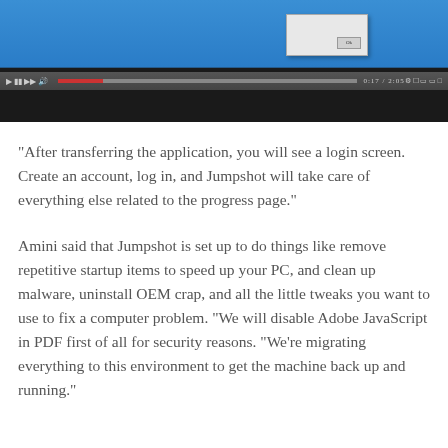[Figure (screenshot): A screenshot of a video player showing a Windows desktop with a dialog box. The video player has a dark taskbar with a red progress bar, playback controls on the left, and icons on the right. The desktop background is blue and the lower portion of the video is black.]
“After transferring the application, you will see a login screen. Create an account, log in, and Jumpshot will take care of everything else related to the progress page.”
Amini said that Jumpshot is set up to do things like remove repetitive startup items to speed up your PC, and clean up malware, uninstall OEM crap, and all the little tweaks you want to use to fix a computer problem. “We will disable Adobe JavaScript in PDF first of all for security reasons. “We’re migrating everything to this environment to get the machine back up and running.”